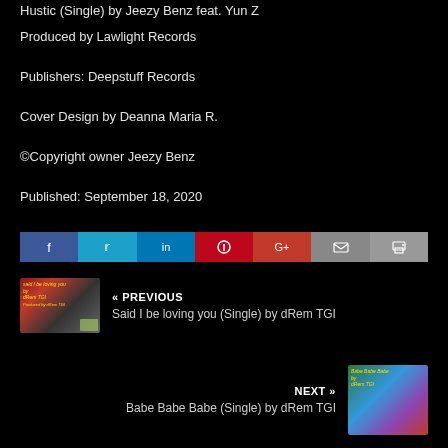Hustic (Single) by Jeezy Benz feat. Yun Z
Produced by Lawlight Records
Publishers: Deepstuff Records
Cover Design by Deanna Maria R.
©Copyright owner Jeezy Benz
Published: September 18, 2020
[Figure (infographic): Social sharing buttons row: Facebook, Twitter, LinkedIn, Pinterest, Google+, Email, Print]
« PREVIOUS
Said I be loving you (Single) by dRem TGI
NEXT »
Babe Babe Babe (Single) by dRem TGI